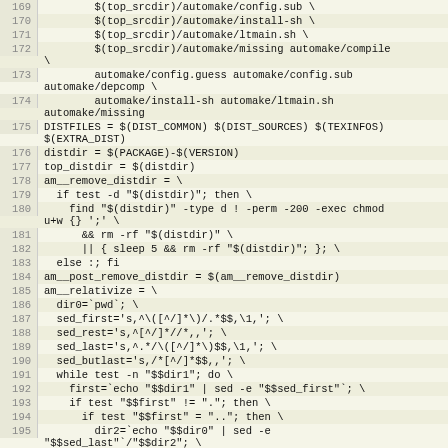Source code / Makefile lines 169-195
169	$(top_srcdir)/automake/config.sub \
170	$(top_srcdir)/automake/install-sh \
171	$(top_srcdir)/automake/ltmain.sh \
172	$(top_srcdir)/automake/missing automake/compile \
	\
173		automake/config.guess automake/config.sub automake/depcomp \
174			automake/install-sh automake/ltmain.sh automake/missing
175	DISTFILES = $(DIST_COMMON) $(DIST_SOURCES) $(TEXINFOS) $(EXTRA_DIST)
176	distdir = $(PACKAGE)-$(VERSION)
177	top_distdir = $(distdir)
178	am__remove_distdir = \
179	  if test -d "$(distdir)"; then \
180	    find "$(distdir)" -type d ! -perm -200 -exec chmod u+w {} ';' \
181	    && rm -rf "$(distdir)" \
182	    || { sleep 5 && rm -rf "$(distdir)"; }; \
183	  else :; fi
184	am__post_remove_distdir = $(am__remove_distdir)
185	am__relativize = \
186	  dir0=`pwd`; \
187	  sed_first='s,^\([^/]*\)/.*$$,\1,'; \
188	  sed_rest='s,^[^/]*//*,,'; \
189	  sed_last='s,^.*/\([^/]*\)$$,\1,'; \
190	  sed_butlast='s,/*[^/]*$$,,'; \
191	  while test -n "$$dir1"; do \
192	    first=`echo "$$dir1" | sed -e "$$sed_first"`; \
193	    if test "$$first" != "."; then \
194	      if test "$$first" = ".."; then \
195	        dir2=`echo "$$dir0" | sed -e "$$sed_last"`/"$$dir2"; \